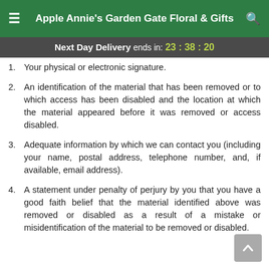Apple Annie's Garden Gate Floral & Gifts
Next Day Delivery ends in: 23:38:20
1. Your physical or electronic signature.
2. An identification of the material that has been removed or to which access has been disabled and the location at which the material appeared before it was removed or access disabled.
3. Adequate information by which we can contact you (including your name, postal address, telephone number, and, if available, email address).
4. A statement under penalty of perjury by you that you have a good faith belief that the material identified above was removed or disabled as a result of a mistake or misidentification of the material to be removed or disabled.